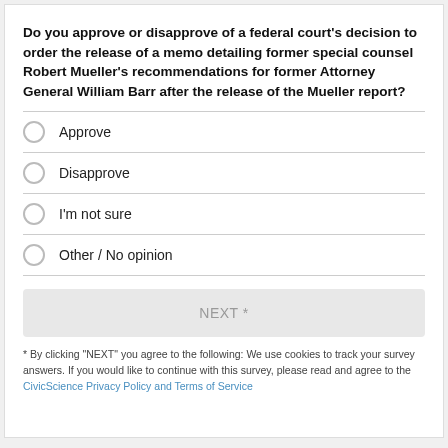Do you approve or disapprove of a federal court's decision to order the release of a memo detailing former special counsel Robert Mueller's recommendations for former Attorney General William Barr after the release of the Mueller report?
Approve
Disapprove
I'm not sure
Other / No opinion
NEXT *
* By clicking "NEXT" you agree to the following: We use cookies to track your survey answers. If you would like to continue with this survey, please read and agree to the CivicScience Privacy Policy and Terms of Service